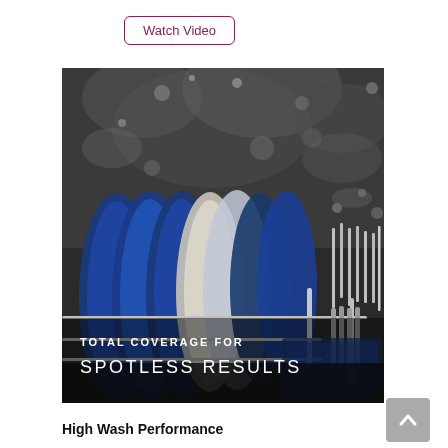Watch Video
[Figure (photo): Dishwasher interior with blue plates and silverware being sprayed with water. Text overlay reads 'TOTAL COVERAGE FOR SPOTLESS RESULTS'.]
High Wash Performance